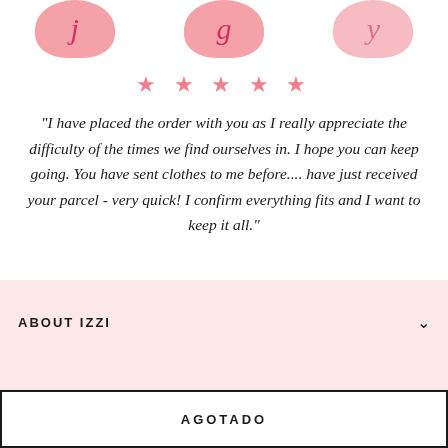[Figure (illustration): Three pink rounded blob shapes with cursive letter decorations partially visible at top of page]
★ ★ ★ ★ ★
"I have placed the order with you as I really appreciate the difficulty of the times we find ourselves in. I hope you can keep going. You have sent clothes to me before.... have just received your parcel - very quick! I confirm everything fits and I want to keep it all."
— Jane, Guernsey
ABOUT IZZI
AGOTADO